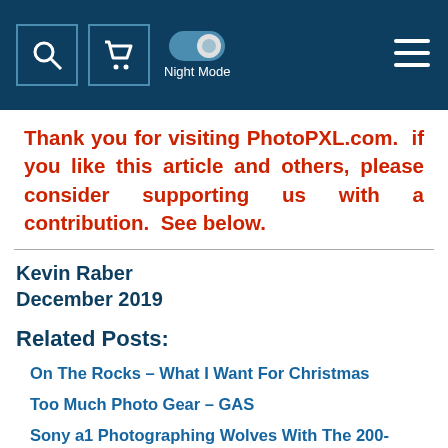Night Mode
Thank you for visiting PhotoPXL.com.  if you like this article and others, please consider supporting us with a contribution.  See below.
Kevin Raber
December 2019
Related Posts:
On The Rocks – What I Want For Christmas
Too Much Photo Gear – GAS
Sony a1 Photographing Wolves With The 200-600mm G Lens